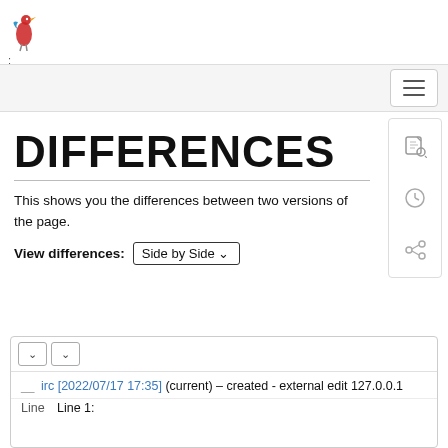[Figure (logo): Red and blue bird/figure logo (DokuWiki-style)]
Navigation bar with hamburger menu button
DIFFERENCES
This shows you the differences between two versions of the page.
View differences: Side by Side ˅
| irc [2022/07/17 17:35] (current) – created - external edit 127.0.0.1 |
Line
Line 1: